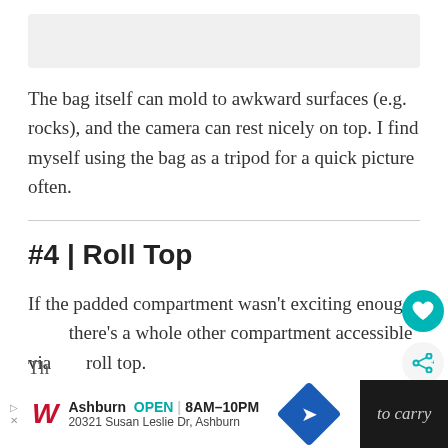[Figure (photo): Partial image at the top of the page, gray placeholder area]
The bag itself can mold to awkward surfaces (e.g. rocks), and the camera can rest nicely on top. I find myself using the bag as a tripod for a quick picture often.
#4 | Roll Top
If the padded compartment wasn't exciting enough, there's a whole other compartment accessible via roll top.
Th to carry